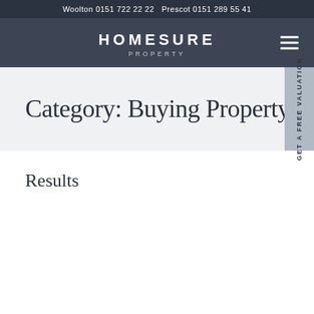Woolton 0151 722 22 22   Prescot 0151 289 55 41
[Figure (logo): Homesure Property logo — white sans-serif text on dark slate background with hamburger menu icon]
Category: Buying Property
Results